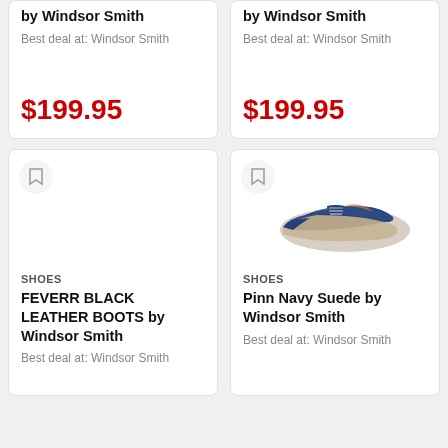by Windsor Smith
Best deal at: Windsor Smith
$199.95
by Windsor Smith
Best deal at: Windsor Smith
$199.95
[Figure (other): Empty card with bookmark icon, no product image shown]
SHOES
FEVERR BLACK LEATHER BOOTS by Windsor Smith
Best deal at: Windsor Smith
[Figure (photo): Navy blue suede oxford shoe (Pinn Navy Suede by Windsor Smith) on white background]
SHOES
Pinn Navy Suede by Windsor Smith
Best deal at: Windsor Smith